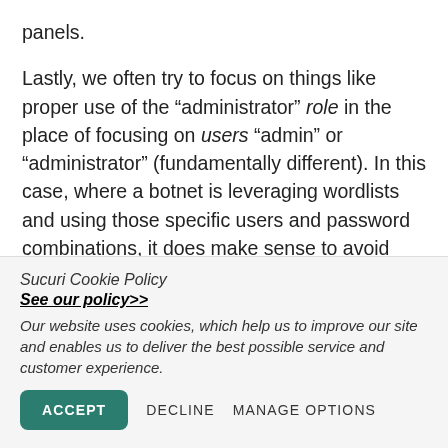panels.

Lastly, we often try to focus on things like proper use of the “administrator” role in the place of focusing on users “admin” or “administrator” (fundamentally different). In this case, where a botnet is leveraging wordlists and using those specific users and password combinations, it does make sense to avoid those users all together. I would probably recommend avoiding the list of
Sucuri Cookie Policy
See our policy>>
Our website uses cookies, which help us to improve our site and enables us to deliver the best possible service and customer experience.
ACCEPT  DECLINE  MANAGE OPTIONS